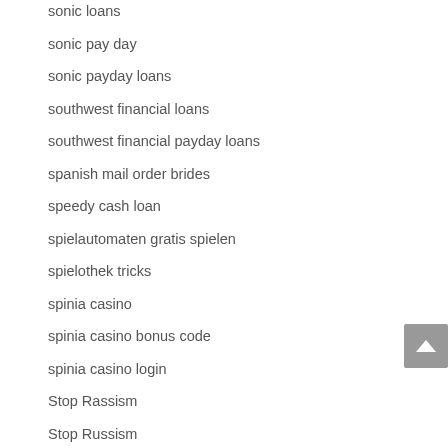sonic loans
sonic pay day
sonic payday loans
southwest financial loans
southwest financial payday loans
spanish mail order brides
speedy cash loan
spielautomaten gratis spielen
spielothek tricks
spinia casino
spinia casino bonus code
spinia casino login
Stop Rassism
Stop Russism
Sugar Daddy Websites Australia